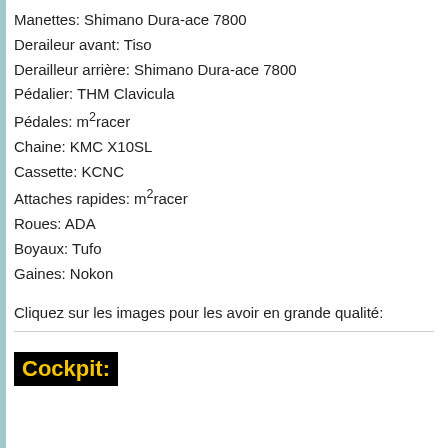Manettes: Shimano Dura-ace 7800
Deraileur avant: Tiso
Derailleur arrière: Shimano Dura-ace 7800
Pédalier: THM Clavicula
Pédales: m²racer
Chaine: KMC X10SL
Cassette: KCNC
Attaches rapides: m²racer
Roues: ADA
Boyaux: Tufo
Gaines: Nokon
Cliquez sur les images pour les avoir en grande qualité:
Cockpit: